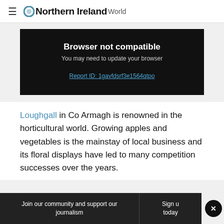Northern Ireland World
[Figure (screenshot): Browser not compatible error box on dark background. Text reads: 'Browser not compatible', 'You may need to update your browser', and a link 'Report ID: 1gavfdsrf3e1564qtpo']
Loughgall in Co Armagh is renowned in the horticultural world. Growing apples and vegetables is the mainstay of local business and its floral displays have led to many competition successes over the years.
Join our community and support our journalism | Sign up today